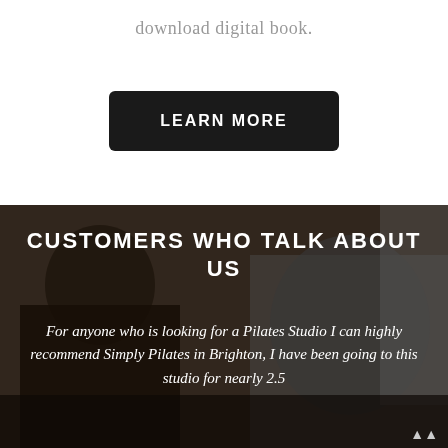download digital book.
LEARN MORE
[Figure (photo): Background photo of a woman doing Pilates in a studio, bending forward; dark overlay with text overlay]
CUSTOMERS WHO TALK ABOUT US
For anyone who is looking for a Pilates Studio I can highly recommend Simply Pilates in Brighton, I have been going to this studio for nearly 2.5